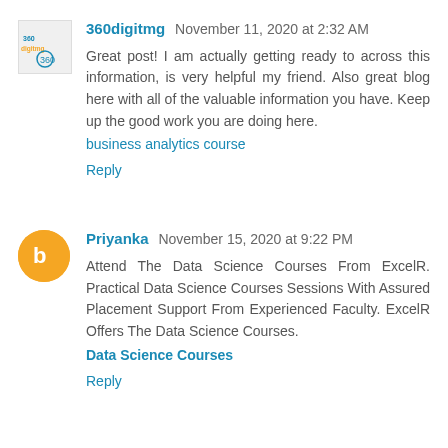360digitmg  November 11, 2020 at 2:32 AM
Great post! I am actually getting ready to across this information, is very helpful my friend. Also great blog here with all of the valuable information you have. Keep up the good work you are doing here.
business analytics course
Reply
Priyanka  November 15, 2020 at 9:22 PM
Attend The Data Science Courses From ExcelR. Practical Data Science Courses Sessions With Assured Placement Support From Experienced Faculty. ExcelR Offers The Data Science Courses.
Data Science Courses
Reply